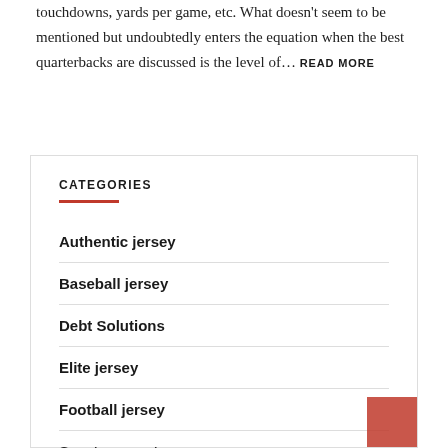touchdowns, yards per game, etc. What doesn't seem to be mentioned but undoubtedly enters the equation when the best quarterbacks are discussed is the level of… READ MORE
CATEGORIES
Authentic jersey
Baseball jersey
Debt Solutions
Elite jersey
Football jersey
Sportswear store